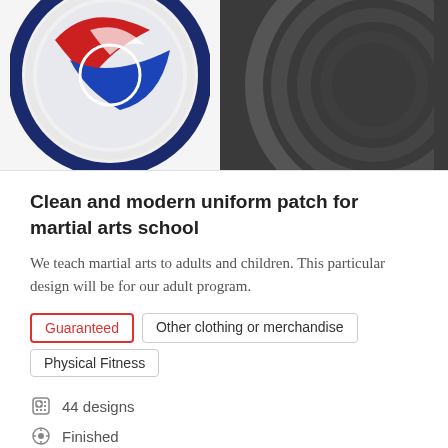[Figure (photo): Two-part image: left side shows a circular martial arts school patch/emblem with red, white, and blue design on light background; right side shows a dark gray textured circular design on dark background.]
Clean and modern uniform patch for martial arts school
We teach martial arts to adults and children. This particular design will be for our adult program.
Guaranteed
Other clothing or merchandise
Physical Fitness
44 designs
Finished